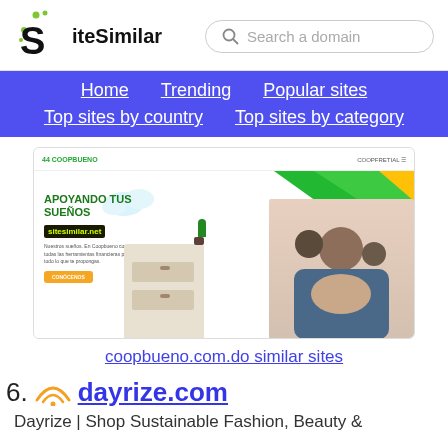SiteSimilar — Search a domain
Home | Trending | Popular sites | Top sites by country | Top sites by category
[Figure (screenshot): Screenshot of coopbueno.com.do showing a banner with APOYANDO TUS SUEÑOS text and family photo]
coopbueno.com.do similar sites
06. dayrize.com
Dayrize | Shop Sustainable Fashion, Beauty &